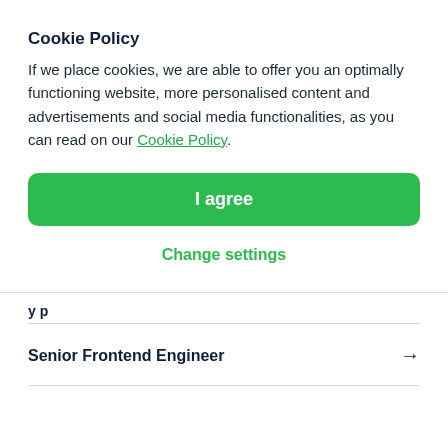Cookie Policy
If we place cookies, we are able to offer you an optimally functioning website, more personalised content and advertisements and social media functionalities, as you can read on our Cookie Policy.
I agree
Change settings
Senior Frontend Engineer →